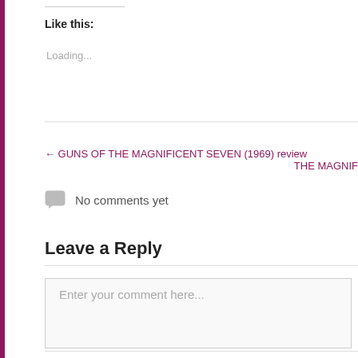Like this:
Loading...
← GUNS OF THE MAGNIFICENT SEVEN (1969) review     THE MAGNIF
No comments yet
Leave a Reply
Enter your comment here...